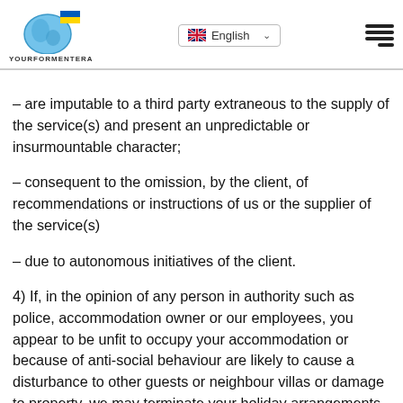YOURFORMENTERA | English
– are imputable to a third party extraneous to the supply of the service(s) and present an unpredictable or insurmountable character;
– consequent to the omission, by the client, of recommendations or instructions of us or the supplier of the service(s)
– due to autonomous initiatives of the client.
4) If, in the opinion of any person in authority such as police, accommodation owner or our employees, you appear to be unfit to occupy your accommodation or because of anti-social behaviour are likely to cause a disturbance to other guests or neighbour villas or damage to property, we may terminate your holiday arrangements with us. We will not be liable to make alternative arrangements for other accommodation nor will we cover any costs which you